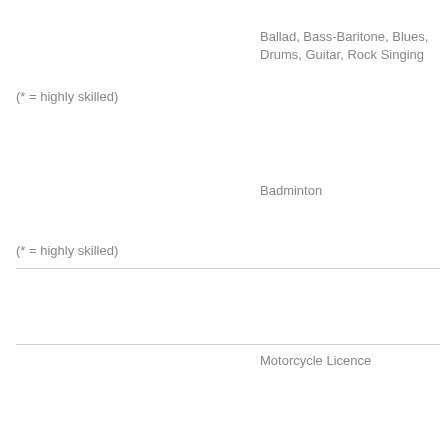Ballad, Bass-Baritone, Blues, Drums, Guitar, Rock Singing
(* = highly skilled)
Badminton
(* = highly skilled)
Motorcycle Licence